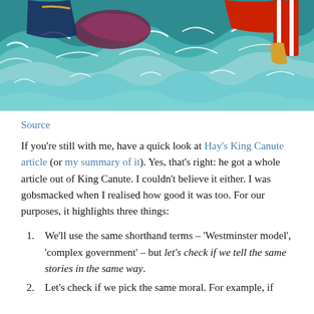[Figure (illustration): A colorful painting showing figures in turbulent ocean waves, with vivid teal water, red and striped garments visible, depicting a chaotic water scene.]
Source
If you're still with me, have a quick look at Hay's King Canute article (or my summary of it). Yes, that's right: he got a whole article out of King Canute. I couldn't believe it either. I was gobsmacked when I realised how good it was too. For our purposes, it highlights three things:
We'll use the same shorthand terms – 'Westminster model', 'complex government' – but let's check if we tell the same stories in the same way.
Let's check if we pick the same moral. For example, if